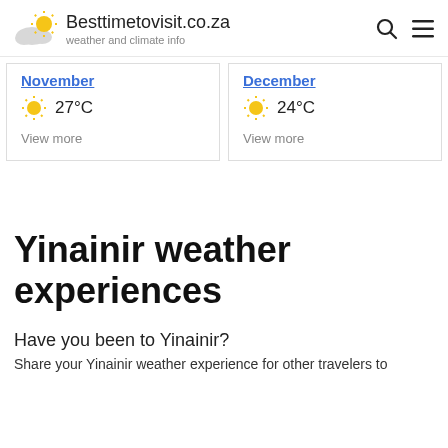Besttimetovisit.co.za — weather and climate info
November 27°C View more
December 24°C View more
Yinainir weather experiences
Have you been to Yinainir?
Share your Yinainir weather experience for other travelers to